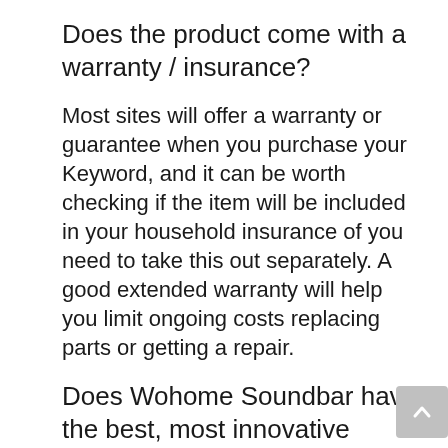Does the product come with a warranty / insurance?
Most sites will offer a warranty or guarantee when you purchase your Keyword, and it can be worth checking if the item will be included in your household insurance of you need to take this out separately. A good extended warranty will help you limit ongoing costs replacing parts or getting a repair.
Does Wohome Soundbar have the best, most innovative features?
As with prices, it is important to compare the features of potential products that suit your budget. Technology is constantly developing,